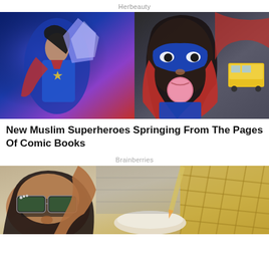Herbeauty
[Figure (illustration): Illustrated Ms. Marvel / Kamala Khan superhero images - left side shows her in blue and red costume with crystalline power effect, right side shows animated version blowing bubble gum with yellow school bus in background]
New Muslim Superheroes Springing From The Pages Of Comic Books
Brainberries
[Figure (photo): Woman wearing stylish sunglasses lying down, yellow patterned background visible, appears to be a fashion or lifestyle photo]